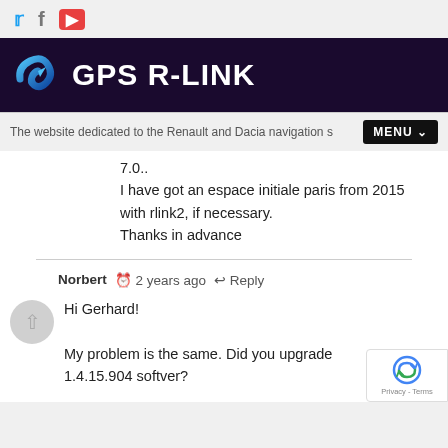[Figure (screenshot): GPS R-LINK website header with social media icons (Twitter, Facebook, YouTube), dark purple banner with logo and site title 'GPS R-LINK', tagline and MENU button]
7.0..
I have got an espace initiale paris from 2015 with rlink2, if necessary.
Thanks in advance
Norbert  2 years ago  Reply
Hi Gerhard!
My problem is the same. Did you upgrade 1.4.15.904 softver?